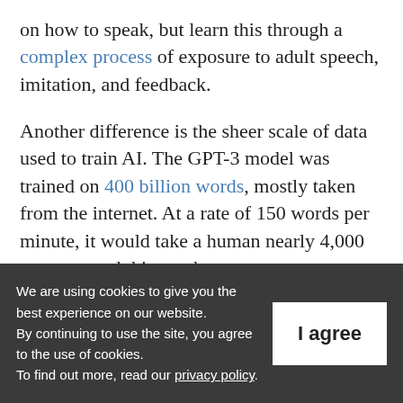on how to speak, but learn this through a complex process of exposure to adult speech, imitation, and feedback.
Another difference is the sheer scale of data used to train AI. The GPT-3 model was trained on 400 billion words, mostly taken from the internet. At a rate of 150 words per minute, it would take a human nearly 4,000 years to read this much text.
We are using cookies to give you the best experience on our website. By continuing to use the site, you agree to the use of cookies. To find out more, read our privacy policy.